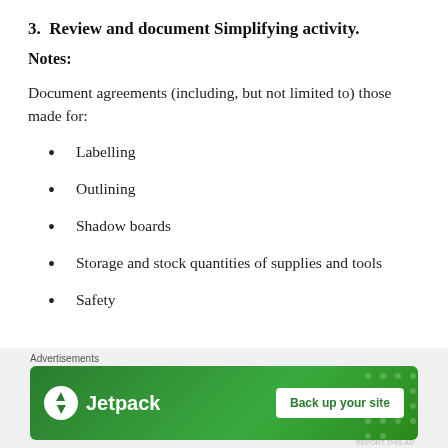3.  Review and document Simplifying activity.
Notes:
Document agreements (including, but not limited to) those made for:
Labelling
Outlining
Shadow boards
Storage and stock quantities of supplies and tools
Safety
[Figure (other): Jetpack advertisement banner with 'Back up your site' call to action button on green background]